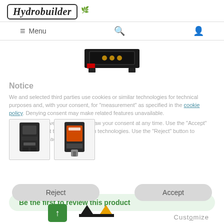Hydrobuilder
Menu
[Figure (photo): Product image of a black electronic device (top view) with gold connectors and red badge label, shown at the top center of the page]
Notice
We and selected third parties use cookies or similar technologies for technical purposes and, with your consent, for "measurement" as specified in the cookie policy. Denying consent may make related features unavailable.
You can freely give, deny, or withdraw your consent at any time. Use the "Accept" button to consent to the use of such technologies. Use the "Reject" button to continue without accepting.
[Figure (photo): Thumbnail image of a small black device (side view)]
[Figure (photo): Thumbnail image of a black device with orange/red label and plug]
SKU #: NS-MINI-RP
Be the first to review this product